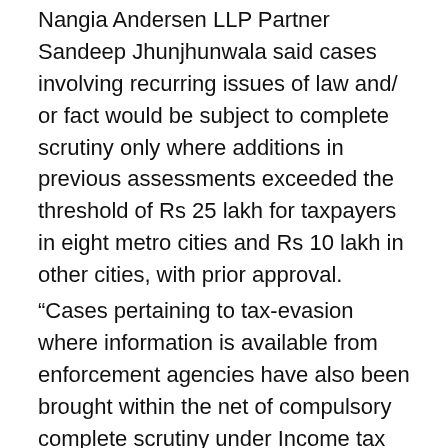Nangia Andersen LLP Partner Sandeep Jhunjhunwala said cases involving recurring issues of law and/ or fact would be subject to complete scrutiny only where additions in previous assessments exceeded the threshold of Rs 25 lakh for taxpayers in eight metro cities and Rs 10 lakh in other cities, with prior approval.
“Cases pertaining to tax-evasion where information is available from enforcement agencies have also been brought within the net of compulsory complete scrutiny under Income tax provisions.
ADVERTISEMENT
“The insertion of the need to obtain a prior approval and ascribing thresholds could be seen as a right step